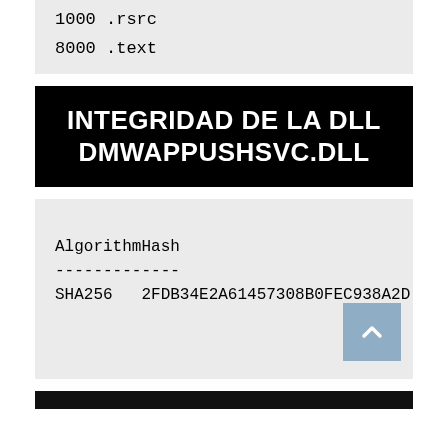1000 .rsrc
8000 .text
INTEGRIDAD DE LA DLL DMWAPPUSHSVC.DLL
| Algorithm | Hash |
| --- | --- |
| --------- | ---- |
| SHA256 | 2FDB34E2A61457308B0FEC938A2D |